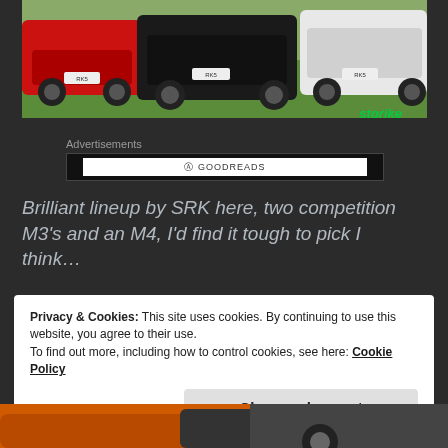[Figure (photo): Outdoor car show display with multiple BMW M cars including a red M3, black M3, and white M4 parked on green grass. Storike watermark visible at bottom right.]
Advertisements
[Figure (screenshot): Advertisement banner showing Goodreads logo]
Brilliant lineup by SRK here, two competition M3's and an M4, I'd find it tough to pick I think…
Privacy & Cookies: This site uses cookies. By continuing to use this website, you agree to their use.
To find out more, including how to control cookies, see here: Cookie Policy
[Figure (photo): Bottom portion of an orange car visible at the bottom of the page]